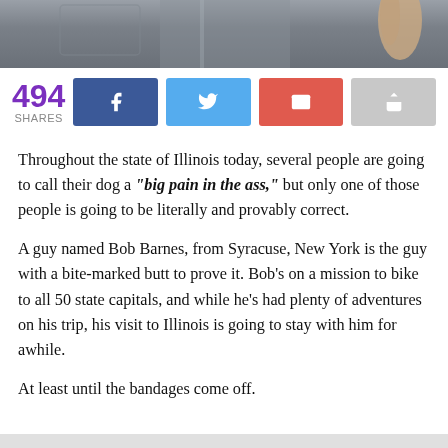[Figure (photo): Bottom portion of a photo showing a person wearing grey denim jeans, cropped to show only the lower torso/pocket area.]
494 SHARES [Facebook share button] [Twitter share button] [Email share button] [Share button]
Throughout the state of Illinois today, several people are going to call their dog a "big pain in the ass," but only one of those people is going to be literally and provably correct.
A guy named Bob Barnes, from Syracuse, New York is the guy with a bite-marked butt to prove it. Bob's on a mission to bike to all 50 state capitals, and while he's had plenty of adventures on his trip, his visit to Illinois is going to stay with him for awhile.
At least until the bandages come off.